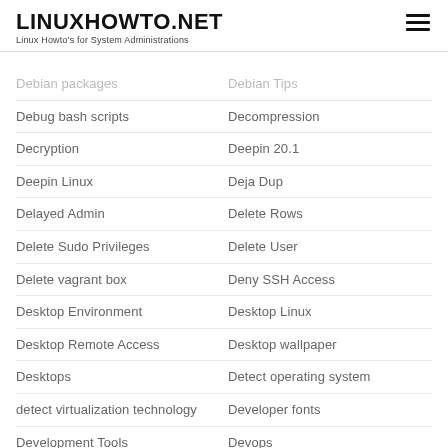LINUXHOWTO.NET
Linux Howto's for System Administrations
Debian packages
Debian Tips
Debug bash scripts
Decompression
Decryption
Deepin 20.1
Deepin Linux
Deja Dup
Delayed Admin
Delete Rows
Delete Sudo Privileges
Delete User
Delete vagrant box
Deny SSH Access
Desktop Environment
Desktop Linux
Desktop Remote Access
Desktop wallpaper
Desktops
Detect operating system
detect virtualization technology
Developer fonts
Development Tools
Devops